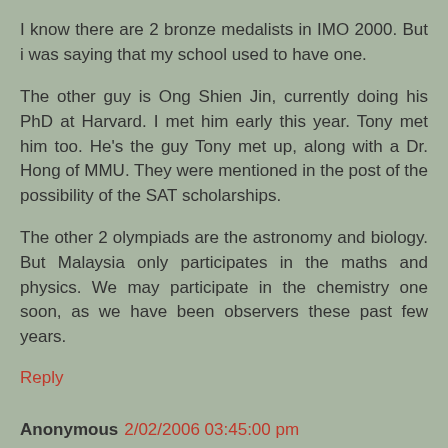I know there are 2 bronze medalists in IMO 2000. But i was saying that my school used to have one.
The other guy is Ong Shien Jin, currently doing his PhD at Harvard. I met him early this year. Tony met him too. He's the guy Tony met up, along with a Dr. Hong of MMU. They were mentioned in the post of the possibility of the SAT scholarships.
The other 2 olympiads are the astronomy and biology. But Malaysia only participates in the maths and physics. We may participate in the chemistry one soon, as we have been observers these past few years.
Reply
Anonymous 2/02/2006 03:45:00 pm
Hm.. sorry. I made a mistake.
There are actually 8 olympiads, with the others being Geography, Linguistic and Philosophy. These 3 arent given